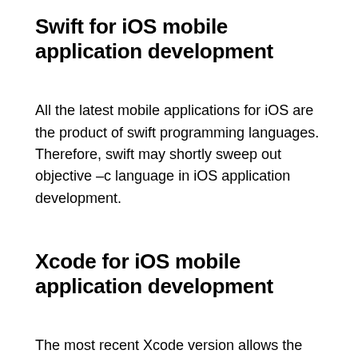Swift for iOS mobile application development
All the latest mobile applications for iOS are the product of swift programming languages. Therefore, swift may shortly sweep out objective –c language in iOS application development.
Xcode for iOS mobile application development
The most recent Xcode version allows the operation of large files by handling code visualization, refactoring, etc.
Conclusion
While deciding the best application for building your